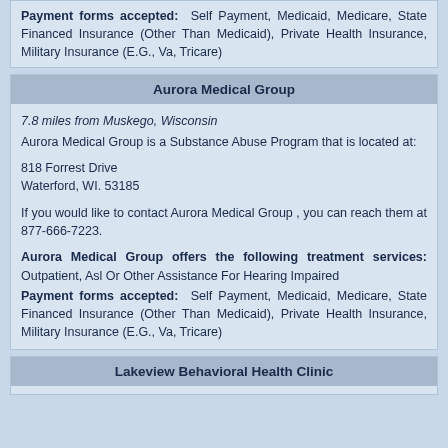Payment forms accepted: Self Payment, Medicaid, Medicare, State Financed Insurance (Other Than Medicaid), Private Health Insurance, Military Insurance (E.G., Va, Tricare)
Aurora Medical Group
7.8 miles from Muskego, Wisconsin
Aurora Medical Group is a Substance Abuse Program that is located at:

818 Forrest Drive
Waterford, WI. 53185

If you would like to contact Aurora Medical Group , you can reach them at 877-666-7223.

Aurora Medical Group offers the following treatment services: Outpatient, Asl Or Other Assistance For Hearing Impaired
Payment forms accepted: Self Payment, Medicaid, Medicare, State Financed Insurance (Other Than Medicaid), Private Health Insurance, Military Insurance (E.G., Va, Tricare)
Lakeview Behavioral Health Clinic